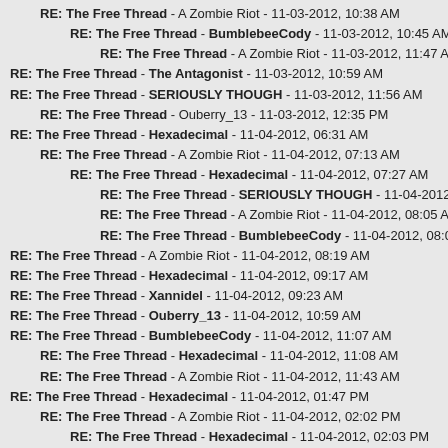RE: The Free Thread - A Zombie Riot - 11-03-2012, 10:38 AM
RE: The Free Thread - BumblebeeCody - 11-03-2012, 10:45 AM
RE: The Free Thread - A Zombie Riot - 11-03-2012, 11:47 AM
RE: The Free Thread - The Antagonist - 11-03-2012, 10:59 AM
RE: The Free Thread - SERIOUSLY THOUGH - 11-03-2012, 11:56 AM
RE: The Free Thread - Ouberry_13 - 11-03-2012, 12:35 PM
RE: The Free Thread - Hexadecimal - 11-04-2012, 06:31 AM
RE: The Free Thread - A Zombie Riot - 11-04-2012, 07:13 AM
RE: The Free Thread - Hexadecimal - 11-04-2012, 07:27 AM
RE: The Free Thread - SERIOUSLY THOUGH - 11-04-2012, 07:28 AM
RE: The Free Thread - A Zombie Riot - 11-04-2012, 08:05 AM
RE: The Free Thread - BumblebeeCody - 11-04-2012, 08:09 AM
RE: The Free Thread - A Zombie Riot - 11-04-2012, 08:19 AM
RE: The Free Thread - Hexadecimal - 11-04-2012, 09:17 AM
RE: The Free Thread - Xannidel - 11-04-2012, 09:23 AM
RE: The Free Thread - Ouberry_13 - 11-04-2012, 10:59 AM
RE: The Free Thread - BumblebeeCody - 11-04-2012, 11:07 AM
RE: The Free Thread - Hexadecimal - 11-04-2012, 11:08 AM
RE: The Free Thread - A Zombie Riot - 11-04-2012, 11:43 AM
RE: The Free Thread - Hexadecimal - 11-04-2012, 01:47 PM
RE: The Free Thread - A Zombie Riot - 11-04-2012, 02:02 PM
RE: The Free Thread - Hexadecimal - 11-04-2012, 02:03 PM
RE: The Free Thread - A Zombie Riot - 11-04-2012, 02:07 PM
RE: The Free Thread - A Zombie Riot - 11-05-2012, 04:33 AM
RE: The Free Thread - SERIOUSLY THOUGH - 11-05-2012, 05:02 AM